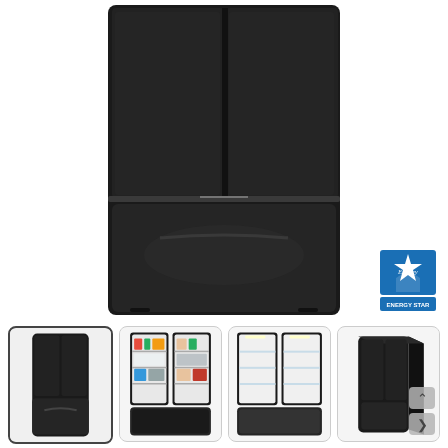[Figure (photo): Black French door refrigerator with bottom freezer drawer, front view on white background. Two upper French doors and one lower freezer drawer.]
[Figure (logo): ENERGY STAR certification badge with blue background and white star/house logo, text reading ENERGY STAR]
[Figure (photo): Thumbnail 1 (selected): Black French door refrigerator closed, front view]
[Figure (photo): Thumbnail 2: Black French door refrigerator open showing food items inside]
[Figure (photo): Thumbnail 3: Black French door refrigerator open showing empty interior with shelves]
[Figure (photo): Thumbnail 4: Black French door refrigerator side/angle view with navigation arrows]